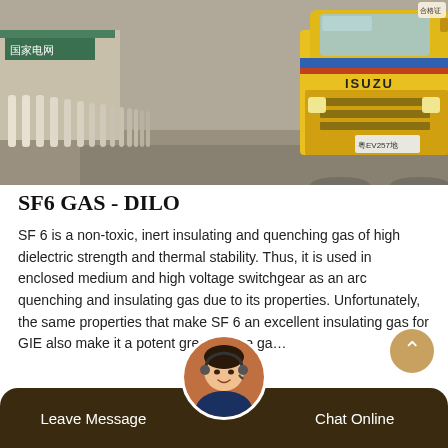[Figure (photo): Photo of a yellow ISUZU truck parked near a facility with white bollards along a road, outdoor setting with structures in background.]
SF6 GAS - DILO
SF 6 is a non-toxic, inert insulating and quenching gas of high dielectric strength and thermal stability. Thus, it is used in enclosed medium and high voltage switchgear as an arc quenching and insulating gas due to its properties. Unfortunately, the same properties that make SF 6 an excellent insulating gas for GIE also make it a potent greenhouse ga...
Leave Message  |  Chat Online